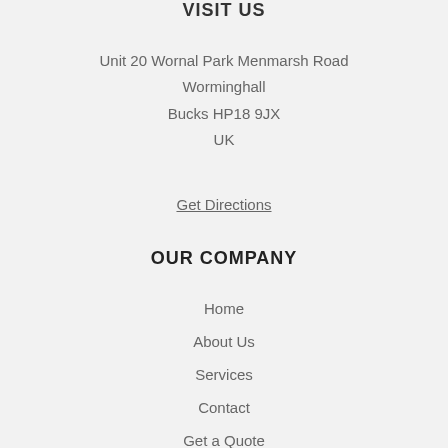VISIT US
Unit 20 Wornal Park Menmarsh Road
Worminghall
Bucks HP18 9JX
UK
Get Directions
OUR COMPANY
Home
About Us
Services
Contact
Get a Quote